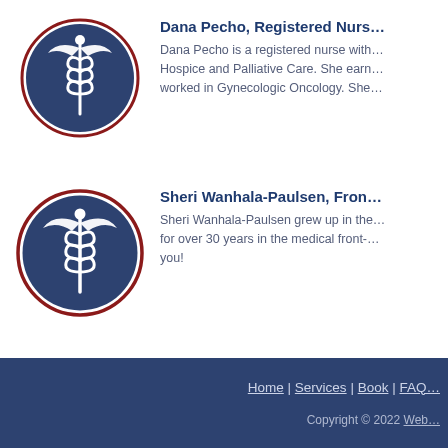[Figure (illustration): Caduceus medical symbol (white) on dark navy blue circular background with dark red border ring]
Dana Pecho, Registered Nurs…
Dana Pecho is a registered nurse with… Hospice and Palliative Care. She earn… worked in Gynecologic Oncology. She…
[Figure (illustration): Caduceus medical symbol (white) on dark navy blue circular background with dark red border ring]
Sheri Wanhala-Paulsen, Fron…
Sheri Wanhala-Paulsen grew up in the… for over 30 years in the medical front-… you!
Home | Services | Book | FAQ… Copyright © 2022 Web…